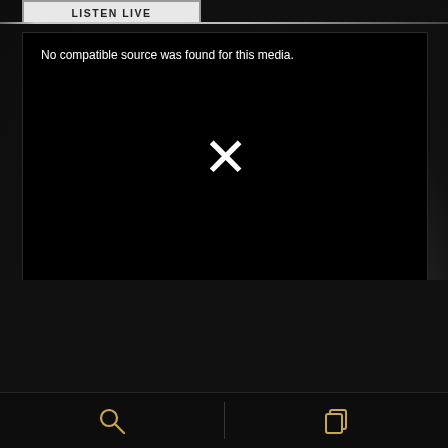LISTEN LIVE
[Figure (screenshot): Black media player box showing error message 'No compatible source was found for this media.' with a white X icon in the center]
[Figure (screenshot): Dark background with diagonal light streaks and a bottom toolbar showing a search icon on the left and a copy/layers icon on the right, separated by a vertical divider]